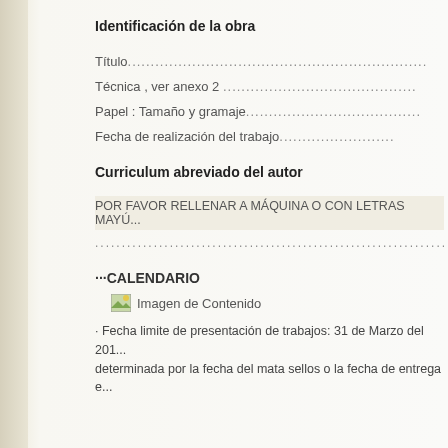Identificación de la obra
Título...............................................................
Técnica , ver anexo 2 ...........................................
Papel : Tamaño y gramaje.......................................
Fecha de realización del trabajo................................
Curriculum abreviado del autor
POR FAVOR RELLENAR A MÁQUINA O CON LETRAS MAYÚ...
...............................................................................
···CALENDARIO
[Figure (illustration): Imagen de Contenido - small image icon placeholder]
· Fecha limite de presentación de trabajos: 31 de Marzo del 201... determinada por la fecha del mata sellos o la fecha de entrega e...